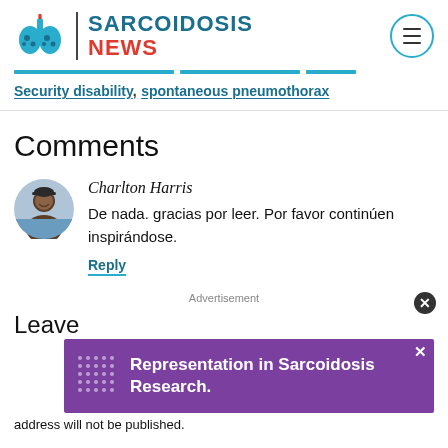[Figure (logo): Sarcoidosis News website logo with lung icon, site name, and hamburger menu button]
Security disability, spontaneous pneumothorax
Comments
[Figure (photo): Round avatar photo of Charlton Harris, a man smiling outdoors]
Charlton Harris
De nada. gracias por leer. Por favor continúen inspirándose.
Reply
Advertisement
Leave a reply
Fill in your details below or click an icon to log in: Your email address will not be published.
[Figure (other): Purple advertisement banner: Representation in Sarcoidosis Research.]